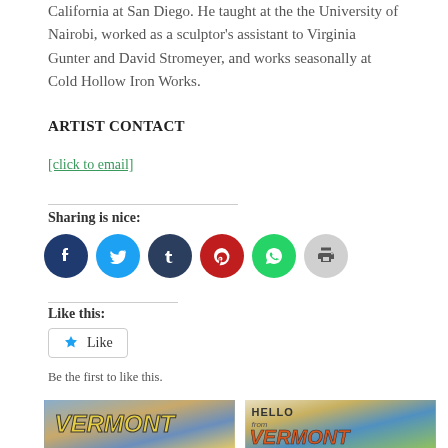California at San Diego. He taught at the the University of Nairobi, worked as a sculptor's assistant to Virginia Gunter and David Stromeyer, and works seasonally at Cold Hollow Iron Works.
ARTIST CONTACT
[click to email]
Sharing is nice:
[Figure (infographic): Social sharing icons: Facebook (dark blue), Twitter (light blue), Tumblr (dark blue), Pinterest (red), WhatsApp (green), Print (grey)]
Like this:
[Figure (infographic): Like button with star icon and text 'Like']
Be the first to like this.
[Figure (photo): Two Vermont postcard images side by side]